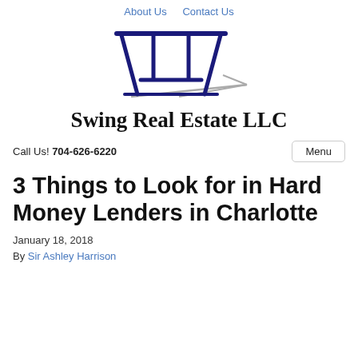About Us   Contact Us
[Figure (logo): Swing Real Estate LLC logo: stylized swing set frame in dark navy blue with gray shadow lines beneath]
Swing Real Estate LLC
Call Us! 704-626-6220
3 Things to Look for in Hard Money Lenders in Charlotte
January 18, 2018
By Sir Ashley Harrison